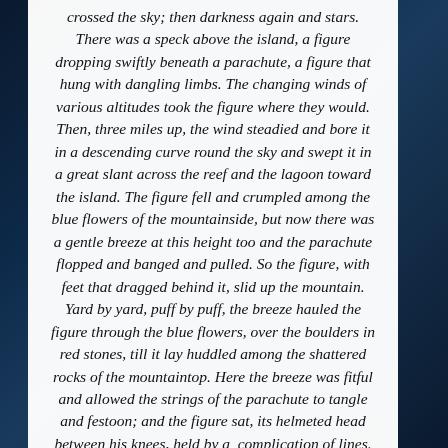crossed the sky; then darkness again and stars. There was a speck above the island, a figure dropping swiftly beneath a parachute, a figure that hung with dangling limbs. The changing winds of various altitudes took the figure where they would. Then, three miles up, the wind steadied and bore it in a descending curve round the sky and swept it in a great slant across the reef and the lagoon toward the island. The figure fell and crumpled among the blue flowers of the mountainside, but now there was a gentle breeze at this height too and the parachute flopped and banged and pulled. So the figure, with feet that dragged behind it, slid up the mountain. Yard by yard, puff by puff, the breeze hauled the figure through the blue flowers, over the boulders in red stones, till it lay huddled among the shattered rocks of the mountaintop. Here the breeze was fitful and allowed the strings of the parachute to tangle and festoon; and the figure sat, its helmeted head between his knees, held by a complication of lines. When the breeze blew, the lines would strain taught and some accident of this pull lifted the head and chest upright so